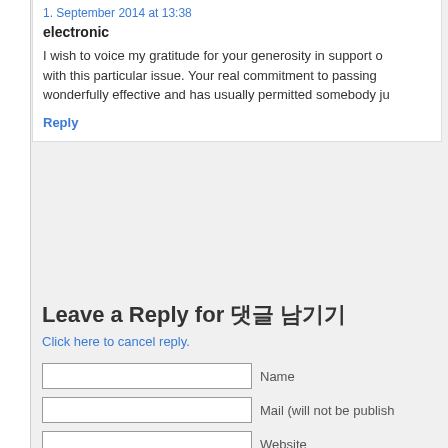1. September 2014 at 13:38
electronic
I wish to voice my gratitude for your generosity in support of with this particular issue. Your real commitment to passing wonderfully effective and has usually permitted somebody ju
Reply
Leave a Reply for 댓글 남기기
Click here to cancel reply.
Name
Mail (will not be publish
Website